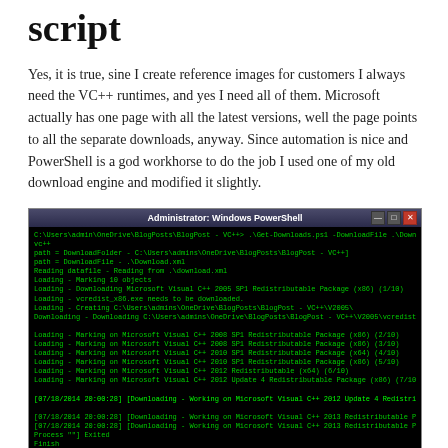script
Yes, it is true, sine I create reference images for customers I always need the VC++ runtimes, and yes I need all of them. Microsoft actually has one page with all the latest versions, well the page points to all the separate downloads, anyway. Since automation is nice and PowerShell is a god workhorse to do the job I used one of my old download engine and modified it slightly.
[Figure (screenshot): Windows PowerShell terminal window showing green text on black background with download progress for Microsoft Visual C++ Redistributable packages]
How does it work?